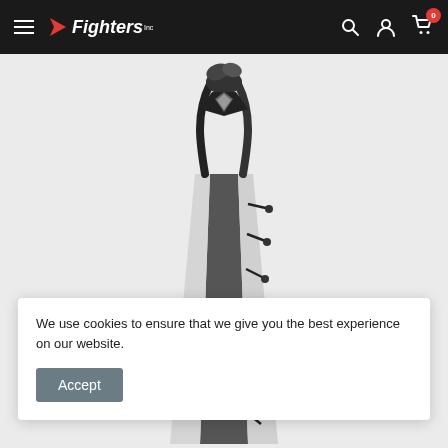Fighters Inc navigation bar with hamburger menu, logo, search, account, and cart icons
[Figure (photo): Close-up top-down view of a black and white punching bag with laces and hanging attachment]
We use cookies to ensure that we give you the best experience on our website.
Accept